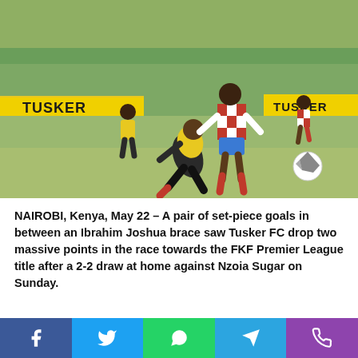[Figure (photo): Football match photo showing players from two teams — one in yellow/black kit and another in red/white checkered kit — competing for the ball on a grass pitch. Tusker FC advertising boards visible along the sideline. Several players and crowd visible in the background.]
NAIROBI, Kenya, May 22 – A pair of set-piece goals in between an Ibrahim Joshua brace saw Tusker FC drop two massive points in the race towards the FKF Premier League title after a 2-2 draw at home against Nzoia Sugar on Sunday.